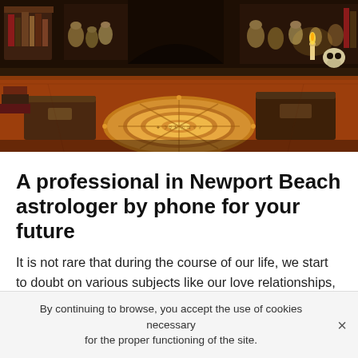[Figure (photo): Fantasy/RPG-style room interior with an ornate circular astrology or alchemy floor mosaic, bookshelves with books and jars in the background, wooden chests, a lit candle, and a skull decoration.]
A professional in Newport Beach astrologer by phone for your future
It is not rare that during the course of our life, we start to doubt on various subjects like our love relationships, our professional career as well as to take important decisions from a financial point of view or others. But I reassure you right away if you are in this case because you are not the only one. However, there are some people who try to find a solution while others prefer to do nothing and let the
By continuing to browse, you accept the use of cookies necessary for the proper functioning of the site.